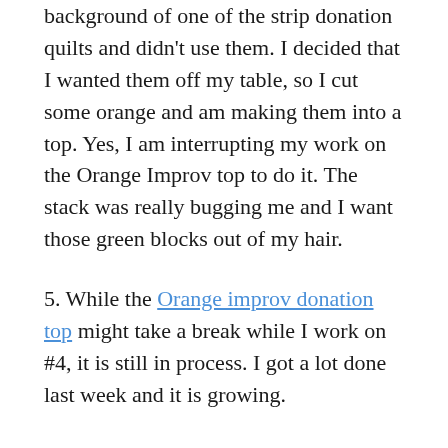background of one of the strip donation quilts and didn't use them. I decided that I wanted them off my table, so I cut some orange and am making them into a top. Yes, I am interrupting my work on the Orange Improv top to do it. The stack was really bugging me and I want those green blocks out of my hair.
5. While the Orange improv donation top might take a break while I work on #4, it is still in process. I got a lot done last week and it is growing.
Things are happening here. I am linking up with others showing off their design walls via Small Quilts and Doll Quilts, the hosting site of Design Wall Monday.